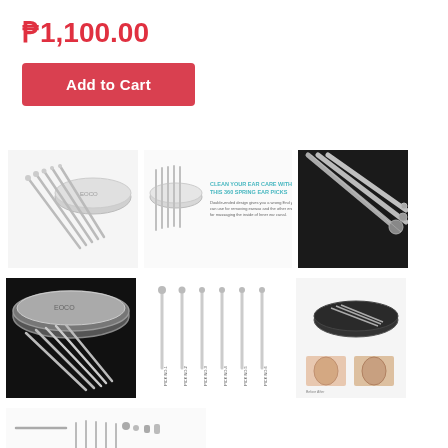₱1,100.00
Add to Cart
[Figure (photo): Ear pick set with silver tools and oval metal case on white background]
[Figure (photo): Ear pick set with text 'Clean your ear care with this 360 spring ear picks' and description on white background]
[Figure (photo): Close-up of stainless steel ear pick tips on dark background]
[Figure (photo): Silver metal case with ear picks spread out on black background]
[Figure (photo): Six individual ear picks standing vertically with labels on white background]
[Figure (photo): Dark case open with ear picks inside, plus two small ear close-up photos]
[Figure (photo): Infographic showing ear pick set components and tip types]